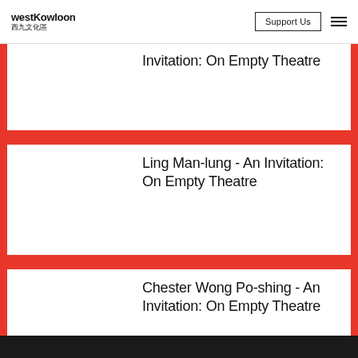westKowloon 西九文化區 | Support Us
Invitation: On Empty Theatre
Ling Man-lung - An Invitation: On Empty Theatre
Chester Wong Po-shing - An Invitation: On Empty Theatre